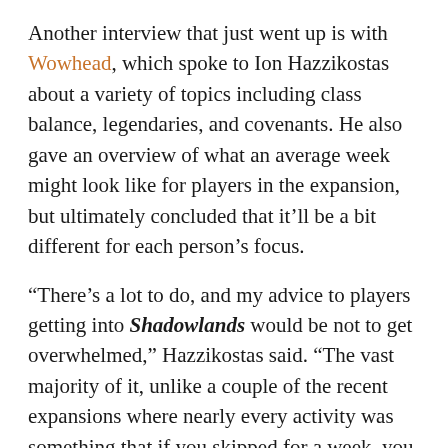Another interview that just went up is with Wowhead, which spoke to Ion Hazzikostas about a variety of topics including class balance, legendaries, and covenants. He also gave an overview of what an average week might look like for players in the expansion, but ultimately concluded that it'll be a bit different for each person's focus.
“There’s a lot to do, and my advice to players getting into Shadowlands would be not to get overwhelmed,” Hazzikostas said. “The vast majority of it, unlike a couple of the recent expansions where nearly every activity was something that if you skipped for a week, you might feel like you were falling behind. That’s not the case for most of what’s there in Shadowlands.”
In a separate interview, he fielded a question about the “monthly active users” number that Blizzard touts in